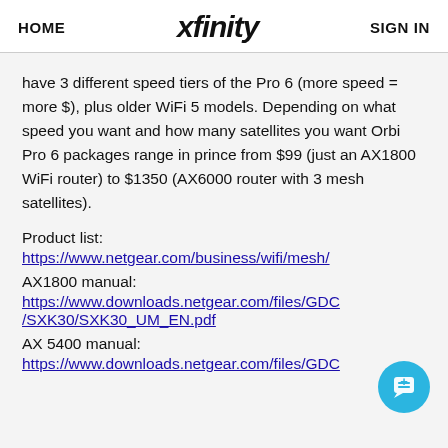HOME   xfinity   SIGN IN
have 3 different speed tiers of the Pro 6 (more speed = more $), plus older WiFi 5 models. Depending on what speed you want and how many satellites you want Orbi Pro 6 packages range in prince from $99 (just an AX1800 WiFi router) to $1350 (AX6000 router with 3 mesh satellites).
Product list:
https://www.netgear.com/business/wifi/mesh/
AX1800 manual:
https://www.downloads.netgear.com/files/GDC/SXK30/SXK30_UM_EN.pdf
AX 5400 manual:
https://www.downloads.netgear.com/files/GDC